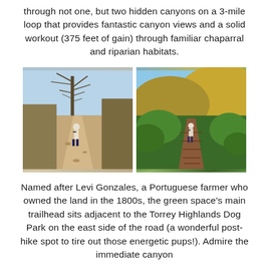through not one, but two hidden canyons on a 3-mile loop that provides fantastic canyon views and a solid workout (375 feet of gain) through familiar chaparral and riparian habitats.
[Figure (photo): Two side-by-side hiking trail photos. Left: a hiker walking away on a rocky dirt path with bare trees and chaparral. Right: a hiker walking away on a wooden boardwalk trail surrounded by green shrubs and yellow-flowering hillside.]
Named after Levi Gonzales, a Portuguese farmer who owned the land in the 1800s, the green space's main trailhead sits adjacent to the Torrey Highlands Dog Park on the east side of the road (a wonderful post-hike spot to tire out those energetic pups!). Admire the immediate canyon